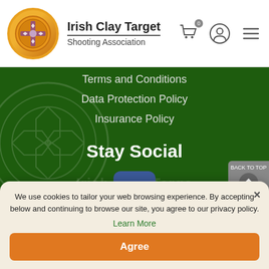Irish Clay Target Shooting Association
Terms and Conditions
Data Protection Policy
Insurance Policy
Stay Social
[Figure (logo): Facebook logo icon — blue rounded square with white 'f' letter]
We use cookies to tailor your web browsing experience. By accepting below and continuing to browse our site, you agree to our privacy policy.
Learn More
Agree